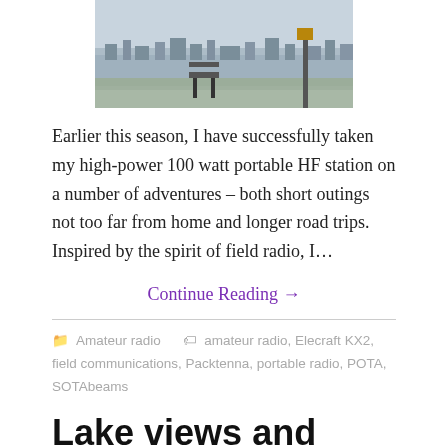[Figure (photo): Outdoor photo showing a bench on a hilltop overlook with a cityscape in the background and a sign post visible on the right side.]
Earlier this season, I have successfully taken my high-power 100 watt portable HF station on a number of adventures – both short outings not too far from home and longer road trips. Inspired by the spirit of field radio, I…
Continue Reading →
Amateur radio   amateur radio, Elecraft KX2, field communications, Packtenna, portable radio, POTA, SOTAbeams
Lake views and Europe with 10